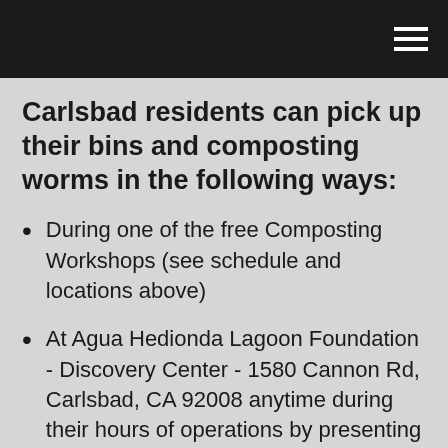Carlsbad residents can pick up their bins and composting worms in the following ways:
During one of the free Composting Workshops (see schedule and locations above)
At Agua Hedionda Lagoon Foundation - Discovery Center - 1580 Cannon Rd, Carlsbad, CA 92008 anytime during their hours of operations by presenting their purchase receipts